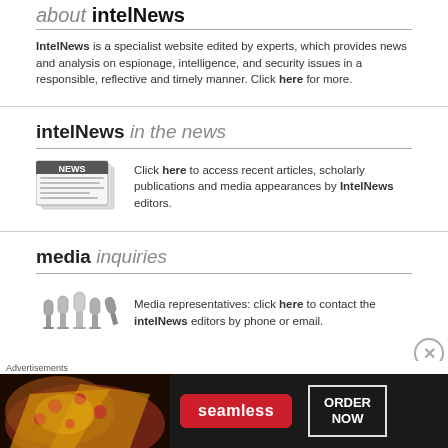about intelNews
IntelNews is a specialist website edited by experts, which provides news and analysis on espionage, intelligence, and security issues in a responsible, reflective and timely manner. Click here for more.
intelNews in the news
[Figure (illustration): Illustration of stacked newspapers with 'NEWS' text on the front page]
Click here to access recent articles, scholarly publications and media appearances by IntelNews editors.
media inquiries
[Figure (illustration): Illustration of several microphones grouped together]
Media representatives: click here to contact the intelNews editors by phone or email.
Advertisements
[Figure (infographic): Seamless food delivery advertisement banner with pizza image, Seamless logo in red, and ORDER NOW button in white border on dark background]